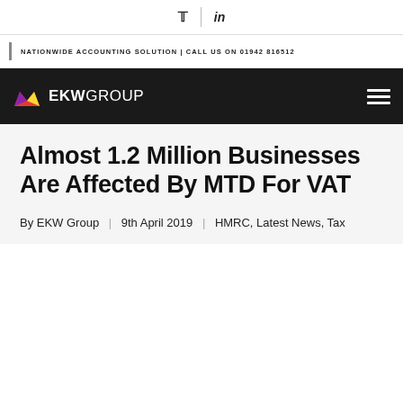Twitter | LinkedIn
NATIONWIDE ACCOUNTING SOLUTION | Call us on 01942 816512
[Figure (logo): EKW Group logo with crown icon on dark navigation bar]
Almost 1.2 Million Businesses Are Affected By MTD For VAT
By EKW Group | 9th April 2019 | HMRC, Latest News, Tax